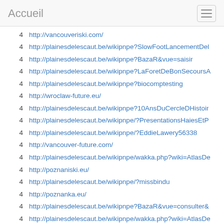Accueil
4  http://vancouveriski.com/
4  http://plainesdelescaut.be/wikipnpe?SlowFootLancementDel
4  http://plainesdelescaut.be/wikipnpe?BazaR&vue=saisir
4  http://plainesdelescaut.be/wikipnpe?LaForetDeBonSecoursA
4  http://plainesdelescaut.be/wikipnpe?biocomptesting
4  http://wroclaw-future.eu/
4  http://plainesdelescaut.be/wikipnpe?10AnsDuCercleDHistoir
4  http://plainesdelescaut.be/wikipnpe/?PresentationsHaiesEtP
4  http://plainesdelescaut.be/wikipnpe/?EddieLawery56338
4  http://vancouver-future.com/
4  http://plainesdelescaut.be/wikipnpe/wakka.php?wiki=AtlasDe
4  http://poznaniski.eu/
4  http://plainesdelescaut.be/wikipnpe/?missbindu
4  http://poznanka.eu/
4  http://plainesdelescaut.be/wikipnpe?BazaR&vue=consulter&
4  http://plainesdelescaut.be/wikipnpe/wakka.php?wiki=AtlasDe
4  http://vancouver-name.com/
4  http://plainesdelescaut.be/wikipnpe/?nimakken
4  http://plainesdelescaut.be/wikipnpe?claradiana
4  http://krakowyes.eu/